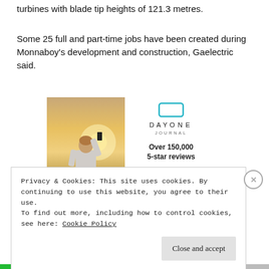turbines with blade tip heights of 121.3 metres.
Some 25 full and part-time jobs have been created during Monnaboy's development and construction, Gaelectric said.
[Figure (illustration): Day One Journal advertisement showing a person photographing a sunset, with logo, 'Over 150,000 5-star reviews' text, and 5 stars]
Privacy & Cookies: This site uses cookies. By continuing to use this website, you agree to their use.
To find out more, including how to control cookies, see here: Cookie Policy
Close and accept